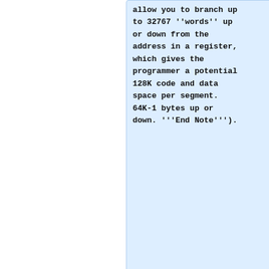allow you to branch up to 32767 ''words'' up or down from the address in a register, which gives the programmer a potential 128K code and data space per segment. 64K-1 bytes up or down. '''End Note''').
Prior to the upgrades of the 390 processor there was only 1 addressing mode, Base / Displacement or effective addressing. The newer processors introduced Program Counter (it's called